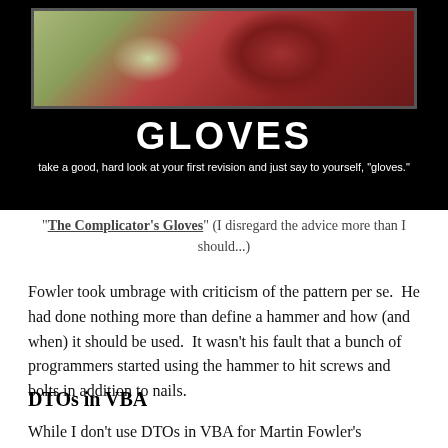[Figure (photo): Meme image with black background showing gloves photo, large text 'GLOVES', and subtitle text]
"The Complicator's Gloves" (I disregard the advice more than I should...)
Fowler took umbrage with criticism of the pattern per se.  He had done nothing more than define a hammer and how (and when) it should be used.  It wasn't his fault that a bunch of programmers started using the hammer to hit screws and bolts in addition to nails.
DTOs in VBA
While I don't use DTOs in VBA for Martin Fowler's originally intended purpose, I still find them indispensable